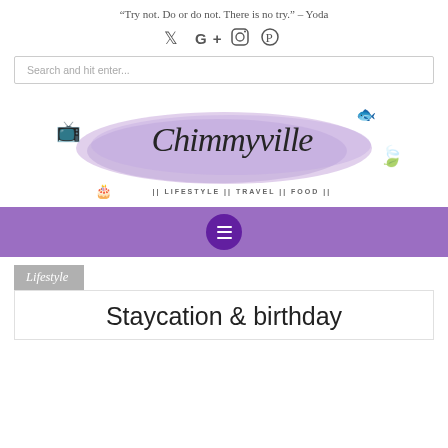“Try not. Do or do not. There is no try.” – Yoda
[Figure (logo): Social media icons: Twitter, Google+, Instagram, Pinterest]
[Figure (logo): Chimmyville blog logo with purple watercolor brush stroke, decorative TV, fish, leaf, cake illustrations, and tagline: || LIFESTYLE || TRAVEL || FOOD ||]
[Figure (other): Purple navigation bar with hamburger menu button in dark purple circle]
Lifestyle
Staycation & birthday